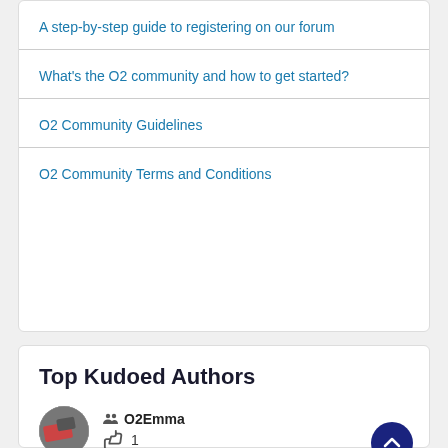A step-by-step guide to registering on our forum
What's the O2 community and how to get started?
O2 Community Guidelines
O2 Community Terms and Conditions
Top Kudoed Authors
O2Emma  👍  1